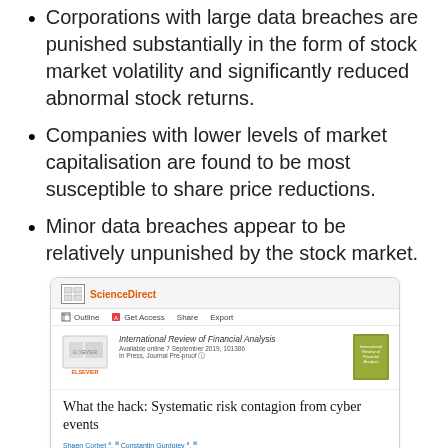Corporations with large data breaches are punished substantially in the form of stock market volatility and significantly reduced abnormal stock returns.
Companies with lower levels of market capitalisation are found to be most susceptible to share price reductions.
Minor data breaches appear to be relatively unpunished by the stock market.
[Figure (screenshot): Screenshot of a ScienceDirect page showing the article 'What the hack: Systematic risk contagion from cyber events' published in International Review of Financial Analysis, available online 7 September 2019, by Shaen Corbet and Constantin Gurdgiev, with DOI https://doi.org/10.1016/j.irfa.2019.101386]